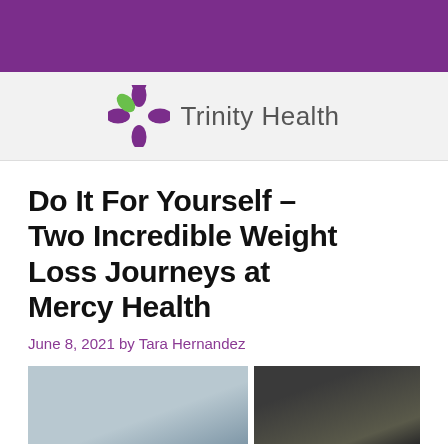[Figure (logo): Trinity Health logo with purple cross/flower icon and text 'Trinity Health']
Do It For Yourself – Two Incredible Weight Loss Journeys at Mercy Health
June 8, 2021 by Tara Hernandez
[Figure (photo): Two side-by-side photos: left shows a person indoors (light blue/grey background), right shows a person outdoors with bare trees in background]